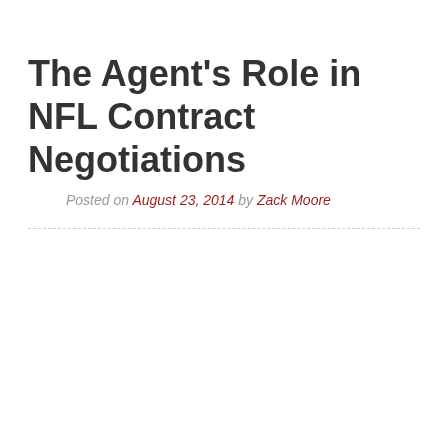The Agent's Role in NFL Contract Negotiations
Posted on August 23, 2014 by Zack Moore